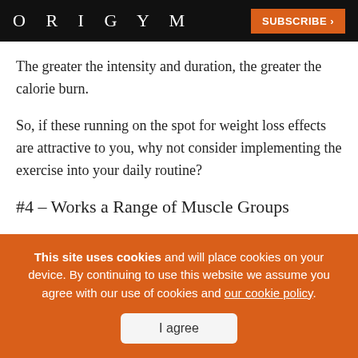ORIGYM | SUBSCRIBE >
The greater the intensity and duration, the greater the calorie burn.
So, if these running on the spot for weight loss effects are attractive to you, why not consider implementing the exercise into your daily routine?
#4 – Works a Range of Muscle Groups
This site uses cookies and will place cookies on your device. By continuing to use this website we assume you agree with our use of cookies and our cookie policy.